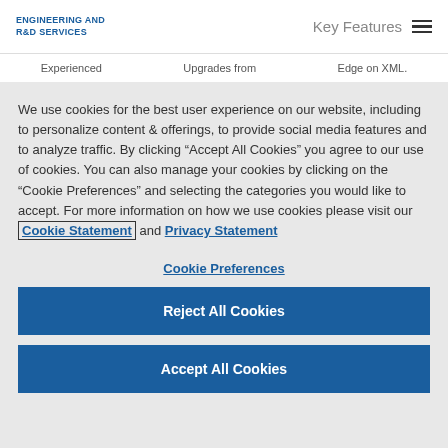ENGINEERING AND R&D SERVICES  Key Features
Experienced  Upgrades from  Edge on XML.
We use cookies for the best user experience on our website, including to personalize content & offerings, to provide social media features and to analyze traffic. By clicking “Accept All Cookies” you agree to our use of cookies. You can also manage your cookies by clicking on the "Cookie Preferences" and selecting the categories you would like to accept. For more information on how we use cookies please visit our Cookie Statement and Privacy Statement
Cookie Preferences
Reject All Cookies
Accept All Cookies